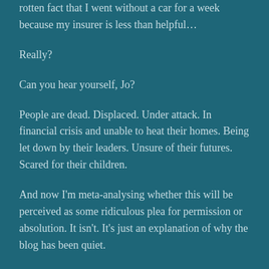rotten fact that I went without a car for a week because my insurer is less than helpful…
Really?
Can you hear yourself, Jo?
People are dead. Displaced. Under attack. In financial crisis and unable to heat their homes. Being let down by their leaders. Unsure of their futures. Scared for their children.
And now I'm meta-analysing whether this will be perceived as some ridiculous plea for permission or absolution. It isn't. It's just an explanation of why the blog has been quiet.
I am sorry to the authors who have shared pre-